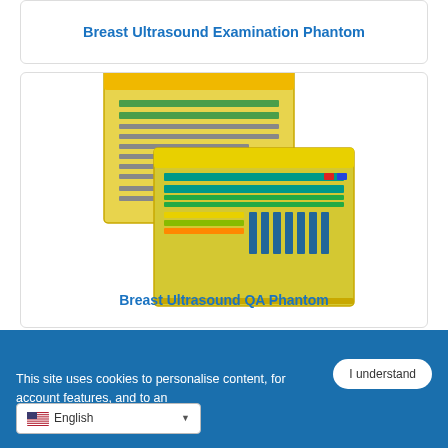Breast Ultrasound Examination Phantom
[Figure (photo): Two breast ultrasound QA phantoms shown overlapping — yellow rectangular devices with colored stripe patterns for ultrasound quality assurance testing]
Breast Ultrasound QA Phantom
This site uses cookies to personalise content, for account features, and to an...